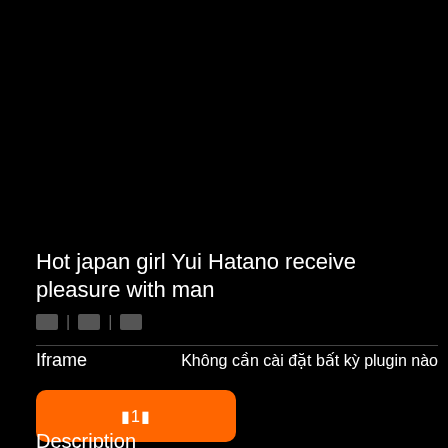[Figure (photo): Black video player area occupying the top half of the page]
Hot japan girl Yui Hatano receive pleasure with man
🔲 | 🔲 | 🔲
Iframe    Không cần cài đặt bất kỳ plugin nào
🔲1🔲
Description